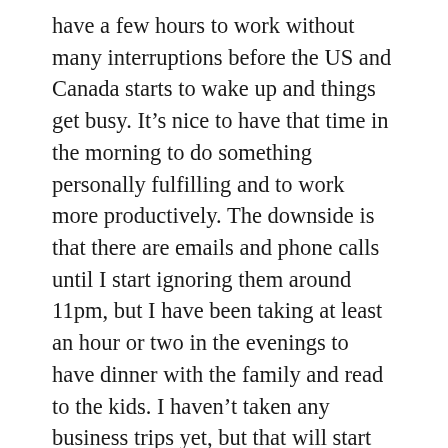have a few hours to work without many interruptions before the US and Canada starts to wake up and things get busy.  It's nice to have that time in the morning to do something personally fulfilling and to work more productively.  The downside is that there are emails and phone calls until I start ignoring them around 11pm, but I have been taking at least an hour or two in the evenings to have dinner with the family and read to the kids.  I haven't taken any business trips yet, but that will start back up after next week.
It's hard to believe we have only been here for two weeks.  It feels like at least a month has gone by!  My parents were here over this last